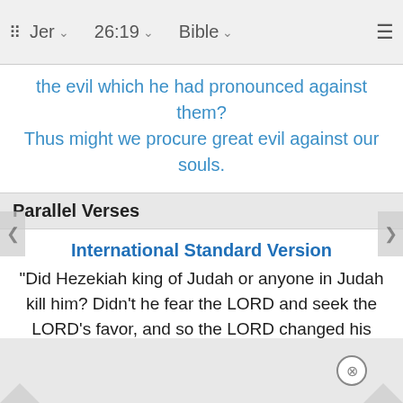Jer 26:19 Bible
the evil which he had pronounced against them? Thus might we procure great evil against our souls.
Parallel Verses
International Standard Version
"Did Hezekiah king of Judah or anyone in Judah kill him? Didn't he fear the LORD and seek the LORD's favor, and so the LORD changed his mind about the disaster that he had spoken to them about. We're bringing great disaster on ourselves.
American Standard Version
Did Hezekiah king of Judah and all Judah put him to death? did he not fear Jehovah, and entreat the favor of Jehovah, and Jehovah repented him of the evil w... Thus shou... ouls.